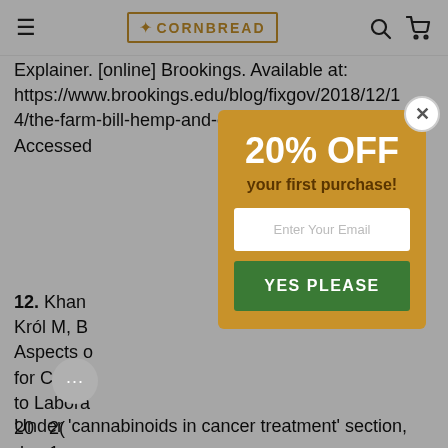CORNBREAD (navigation bar with hamburger menu, logo, search and cart icons)
Explainer. [online] Brookings. Available at: https://www.brookings.edu/blog/fixgov/2018/12/14/the-farm-bill-hemp-and-cbd-explainer/ Accessed [end of sentence]
12. Khan... Król M, B... Aspects of... for Cance... to Labora... 20...2(... d...1... Under 'cannabinoids in cancer treatment' section,
[Figure (screenshot): Promotional popup modal with golden/amber background showing '20% OFF your first purchase!' with email input field and YES PLEASE button, and X close button in top right corner]